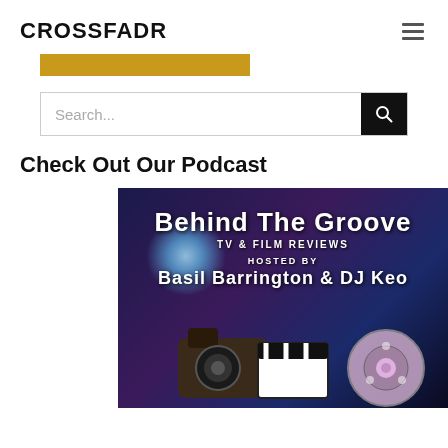CROSSFADR
[Figure (other): Yellow/gold horizontal bar (partially visible, cropped at top)]
Search...
Check Out Our Podcast
[Figure (illustration): Behind The Groove podcast cover art — TV & Film Reviews, Hosted by Basil Barrington & DJ Keo. Dark purple/blue background with spotlight glow, film clapperboard, and film reel imagery.]